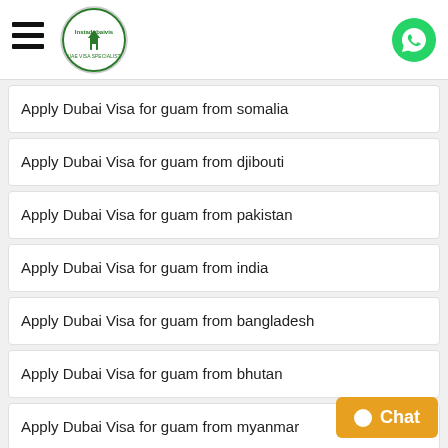Instadubaivis - UAE Visa Specialists [logo] [hamburger menu] [WhatsApp icon]
Apply Dubai Visa for guam from somalia
Apply Dubai Visa for guam from djibouti
Apply Dubai Visa for guam from pakistan
Apply Dubai Visa for guam from india
Apply Dubai Visa for guam from bangladesh
Apply Dubai Visa for guam from bhutan
Apply Dubai Visa for guam from myanmar
Apply Dubai Visa for guam from cambodia
Apply Dubai Visa for guam from china